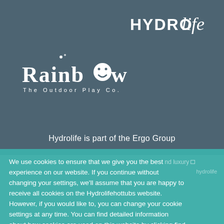[Figure (logo): HYDROlife logo in white text on slate blue background, top right]
[Figure (logo): Rainbow The Outdoor Play Co. logo in white on slate blue background]
Hydrolife is part of the Ergo Group
We use cookies to ensure that we give you the best experience on our website. If you continue without changing your settings, we'll assume that you are happy to receive all cookies on the Hydrolifehottubs website. However, if you would like to, you can change your cookie settings at any time. You can find detailed information about how cookies are used on this website by clicking find out more Cookie policy  Privacy policy
Credit is subject to status and affordability. Terms & Conditions apply. Ergo Group Ltd Longacres, London Road, Bagshot, Surrey, GU19 5JB FRN: 660608, trading as Hydrolife is a credit broker, not the lender, and is authorised and regulated by the
Got it!